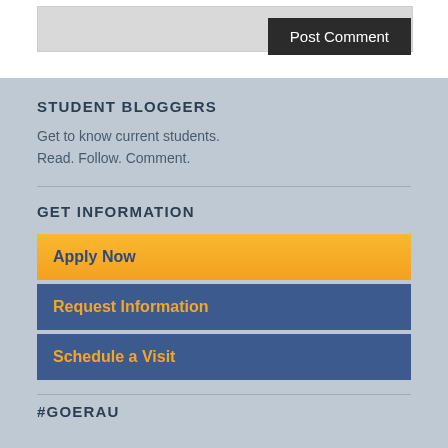[Figure (screenshot): Comment input box (gray) with Post Comment button (dark/black) in top white section]
STUDENT BLOGGERS
Get to know current students. Read. Follow. Comment.
GET INFORMATION
Apply Now
Request Information
Schedule a Visit
#GOERAU